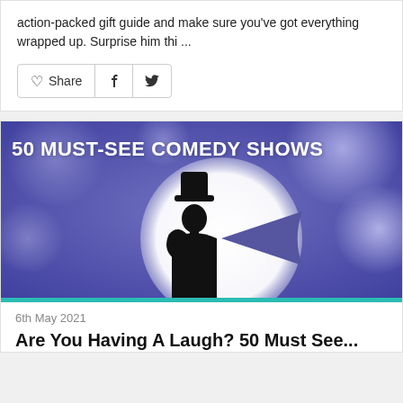action-packed gift guide and make sure you've got everything wrapped up. Surprise him thi ...
[Figure (other): Social sharing bar with heart/Share button, Facebook icon, and Twitter icon]
[Figure (photo): Banner image reading '50 MUST-SEE COMEDY SHOWS' with a silhouette of a comedian against a purple bokeh background and a white circular spotlight]
6th May 2021
Are You Having A Laugh? 50 Must See...